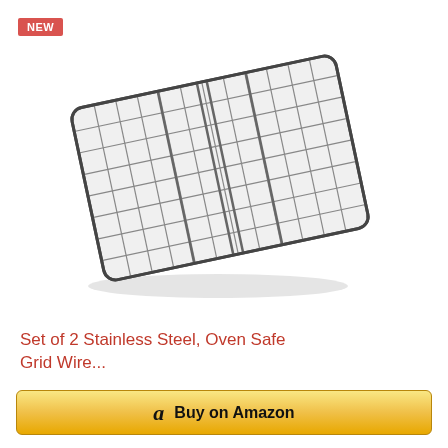NEW
[Figure (photo): A stainless steel oven-safe grid wire cooling/baking rack shown at an angle, with a rectangular grid pattern and rounded corners, displayed on a white background.]
Set of 2 Stainless Steel, Oven Safe Grid Wire...
$16.20
Buy on Amazon